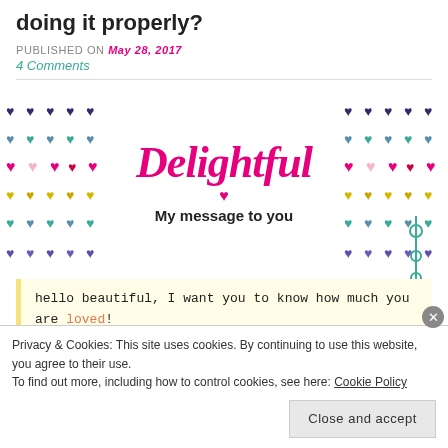doing it properly?
PUBLISHED ON May 28, 2017
4 Comments
[Figure (illustration): Decorative banner with 'Delightful - My message to you' text, pink script font, surrounded by colorful heart patterns on left and right, teal sparkle decoration on right side]
hello beautiful, I want you to know how much you are loved! You have so many gifts to share with the
Privacy & Cookies: This site uses cookies. By continuing to use this website, you agree to their use. To find out more, including how to control cookies, see here: Cookie Policy
Close and accept